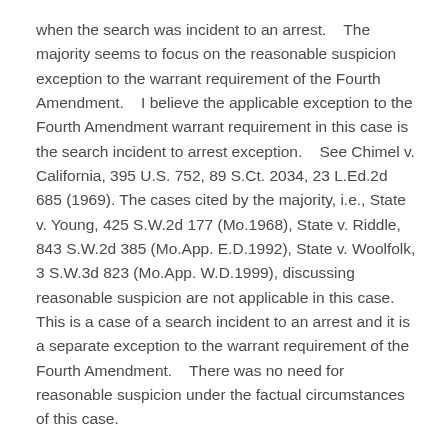when the search was incident to an arrest.    The majority seems to focus on the reasonable suspicion exception to the warrant requirement of the Fourth Amendment.    I believe the applicable exception to the Fourth Amendment warrant requirement in this case is the search incident to arrest exception.    See Chimel v. California, 395 U.S. 752, 89 S.Ct. 2034, 23 L.Ed.2d 685 (1969). The cases cited by the majority, i.e., State v. Young, 425 S.W.2d 177 (Mo.1968), State v. Riddle, 843 S.W.2d 385 (Mo.App. E.D.1992), State v. Woolfolk, 3 S.W.3d 823 (Mo.App. W.D.1999), discussing reasonable suspicion are not applicable in this case.    This is a case of a search incident to an arrest and it is a separate exception to the warrant requirement of the Fourth Amendment.    There was no need for reasonable suspicion under the factual circumstances of this case.
Furthermore, the purpose of the stop was to effectuate the arrest of Bowles.    The trial court concluded that the stop